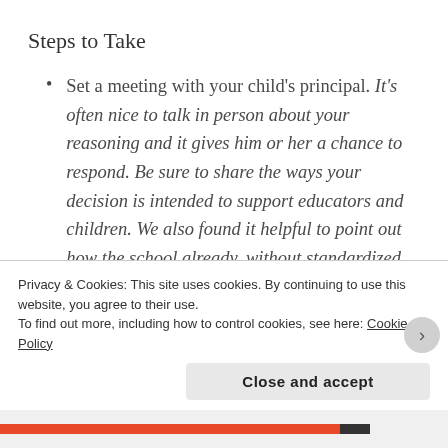Steps to Take
Set a meeting with your child's principal. It's often nice to talk in person about your reasoning and it gives him or her a chance to respond. Be sure to share the ways your decision is intended to support educators and children. We also found it helpful to point out how the school already, without standardized testing, makes us aware of our child's progress. We feel very clear on both of our kids' growth because of the many formative
Privacy & Cookies: This site uses cookies. By continuing to use this website, you agree to their use.
To find out more, including how to control cookies, see here: Cookie Policy
Close and accept